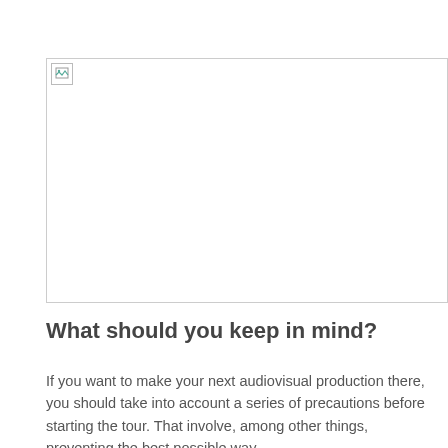[Figure (photo): A broken/unloaded image placeholder shown as a small icon with a border in the top area of the page]
What should you keep in mind?
If you want to make your next audiovisual production there, you should take into account a series of precautions before starting the tour. That involve, among other things, preventing the best possible way